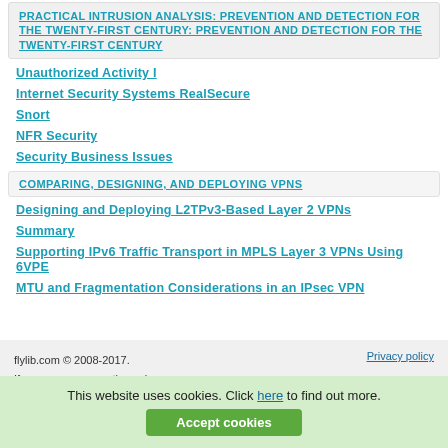PRACTICAL INTRUSION ANALYSIS: PREVENTION AND DETECTION FOR THE TWENTY-FIRST CENTURY: PREVENTION AND DETECTION FOR THE TWENTY-FIRST CENTURY
Unauthorized Activity I
Internet Security Systems RealSecure
Snort
NFR Security
Security Business Issues
COMPARING, DESIGNING, AND DEPLOYING VPNS
Designing and Deploying L2TPv3-Based Layer 2 VPNs
Summary
Supporting IPv6 Traffic Transport in MPLS Layer 3 VPNs Using 6VPE
MTU and Fragmentation Considerations in an IPsec VPN
flylib.com © 2008-2017.
If you may any questions please contact us: flylib@qtcs.net
Privacy policy
This website uses cookies. Click here to find out more.
Accept cookies